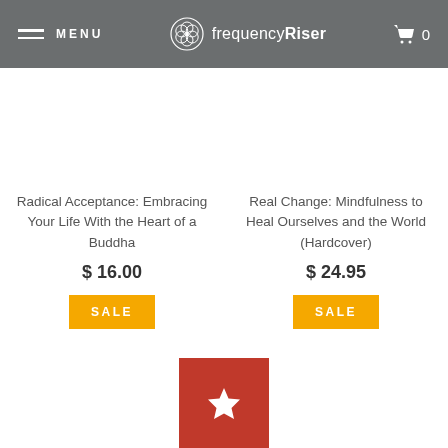MENU | frequencyRiser | 0
Radical Acceptance: Embracing Your Life With the Heart of a Buddha
$ 16.00
SALE
Real Change: Mindfulness to Heal Ourselves and the World (Hardcover)
$ 24.95
SALE
[Figure (other): Red button with white star icon at bottom center of page]